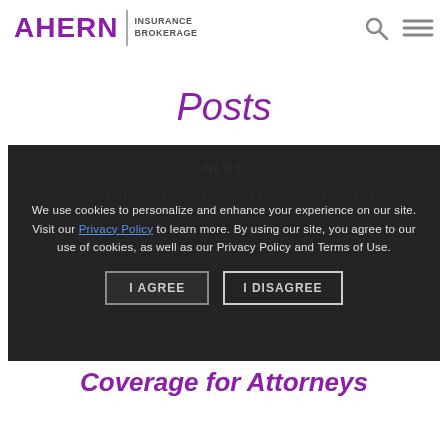AHERN INSURANCE BROKERAGE
Posts
We use cookies to personalize and enhance your experience on our site. Visit our Privacy Policy to learn more. By using our site, you agree to our use of cookies, as well as our Privacy Policy and Terms of Use.
NEWS
Lawyer's Professional Liability Insurance
Coverage for Attorneys